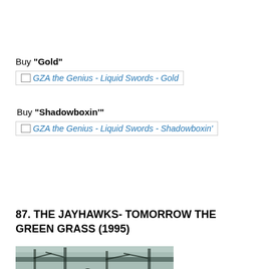Buy "Gold"
[Figure (other): Broken image link for GZA the Genius - Liquid Swords - Gold]
Buy "Shadowboxin'"
[Figure (other): Broken image link for GZA the Genius - Liquid Swords - Shadowboxin']
87. THE JAYHAWKS- TOMORROW THE GREEN GRASS (1995)
[Figure (photo): Black and white or dark-toned photo of a band (The Jayhawks) standing outdoors under trees]